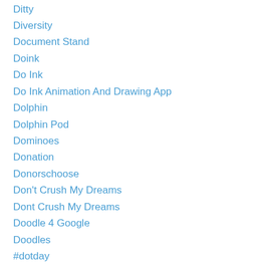Ditty
Diversity
Document Stand
Doink
Do Ink
Do Ink Animation And Drawing App
Dolphin
Dolphin Pod
Dominoes
Donation
Donorschoose
Don't Crush My Dreams
Dont Crush My Dreams
Doodle 4 Google
Doodles
#dotday
Dot Day
Do The Dryden Dos
Download
Drag And Drop
Dragon